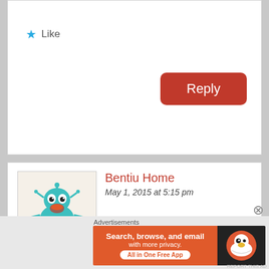Like
[Figure (screenshot): Red Reply button]
Bentiu Home
May 1, 2015 at 5:15 pm
[Figure (illustration): Avatar of a cartoon teal robot character]
Goikuach I like your comment just singing and laughing South Sudan will never never be the same We are Nuer We know what we are doing We will pay you back just enjoy for now.
Son of Bentiu
Advertisements
[Figure (screenshot): DuckDuckGo advertisement banner: Search, browse, and email with more privacy. All in One Free App]